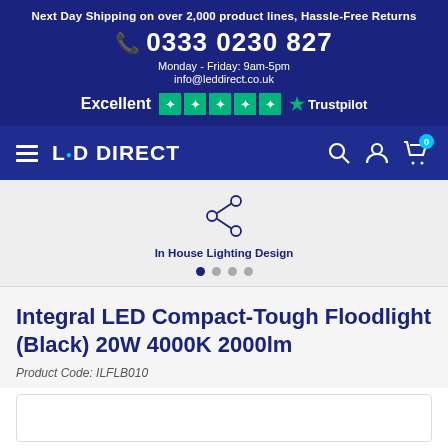Next Day Shipping on over 2,000 product lines, Hassle-Free Returns
0333 0230 827
Monday - Friday: 9am-5pm
info@leddirect.co.uk
Excellent ★★★★★ Trustpilot
LED DIRECT
[Figure (infographic): Share/network icon for In House Lighting Design feature]
In House Lighting Design
Integral LED Compact-Tough Floodlight (Black) 20W 4000K 2000lm
Product Code: ILFLB010
[Figure (photo): Product image area (white background placeholder)]